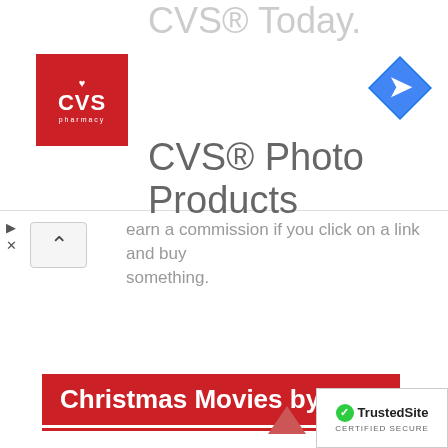[Figure (logo): CVS Pharmacy logo - red square with white heart, CVS text, and pharmacy text]
[Figure (logo): Blue diamond-shaped map/navigation direction icon with white arrow]
CVS® Today.
CVS® Photo Products
earn a commission if you click on a link and buy something.
Christmas Movies by Year
1930-1939
1940-1949
1950-1959
1960-1969
1970-1979
1980-1989
1990-1999
2000-2009
2010-2013
2014
2015